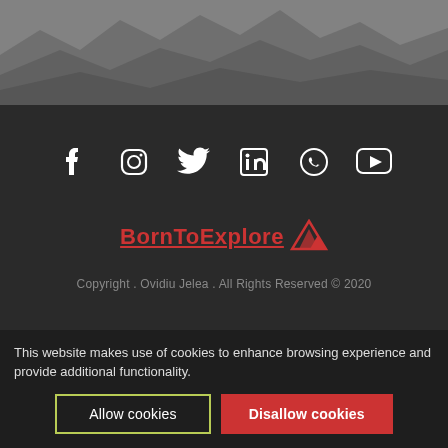[Figure (photo): Grayscale photo of rocky/icy terrain at the top of the page]
[Figure (illustration): Row of 6 social media icons: Facebook, Instagram, Twitter, LinkedIn, WhatsApp, YouTube — white icons on dark background]
BornToExplore (with mountain logo)
Copyright . Ovidiu Jelea . All Rights Reserved © 2020
This website makes use of cookies to enhance browsing experience and provide additional functionality.
Allow cookies
Disallow cookies